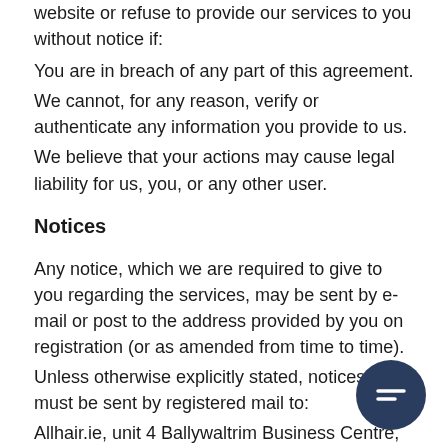website or refuse to provide our services to you without notice if:
You are in breach of any part of this agreement.
We cannot, for any reason, verify or authenticate any information you provide to us.
We believe that your actions may cause legal liability for us, you, or any other user.
Notices
Any notice, which we are required to give to you regarding the services, may be sent by e-mail or post to the address provided by you on registration (or as amended from time to time).
Unless otherwise explicitly stated, notices to us must be sent by registered mail to:
Allhair.ie, unit 4 Ballywaltrim Business Centre, Bray, Co